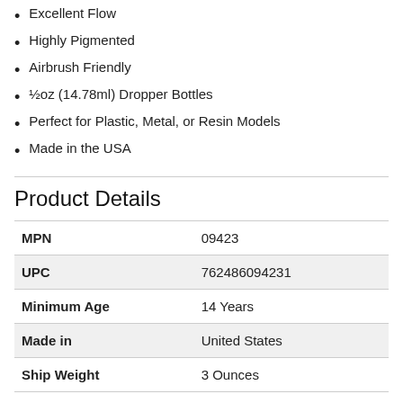Excellent Flow
Highly Pigmented
Airbrush Friendly
½oz (14.78ml) Dropper Bottles
Perfect for Plastic, Metal, or Resin Models
Made in the USA
Product Details
|  |  |
| --- | --- |
| MPN | 09423 |
| UPC | 762486094231 |
| Minimum Age | 14 Years |
| Made in | United States |
| Ship Weight | 3 Ounces |